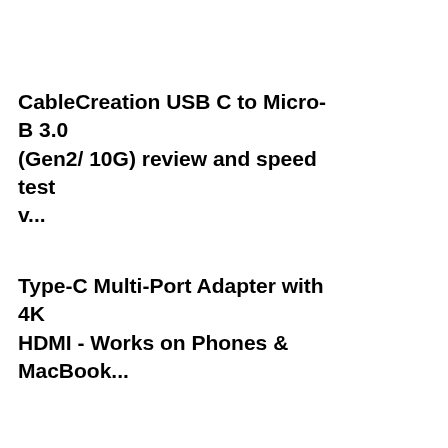CableCreation USB C to Micro-B 3.0 (Gen2/ 10G) review and speed test v...
Type-C Multi-Port Adapter with 4K HDMI - Works on Phones & MacBook...